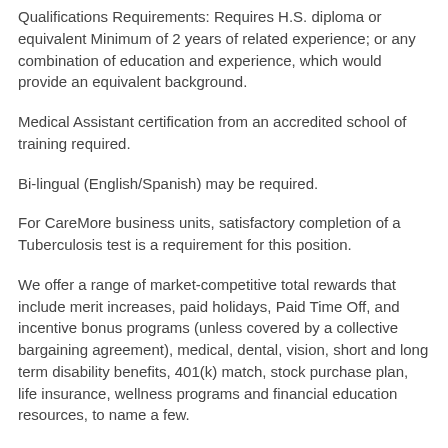Qualifications Requirements: Requires H.S. diploma or equivalent Minimum of 2 years of related experience; or any combination of education and experience, which would provide an equivalent background.
Medical Assistant certification from an accredited school of training required.
Bi-lingual (English/Spanish) may be required.
For CareMore business units, satisfactory completion of a Tuberculosis test is a requirement for this position.
We offer a range of market-competitive total rewards that include merit increases, paid holidays, Paid Time Off, and incentive bonus programs (unless covered by a collective bargaining agreement), medical, dental, vision, short and long term disability benefits, 401(k) match, stock purchase plan, life insurance, wellness programs and financial education resources, to name a few.
The health of our associates and communities is a top priority for Anthem.
We require all new candidates to become vaccinated against